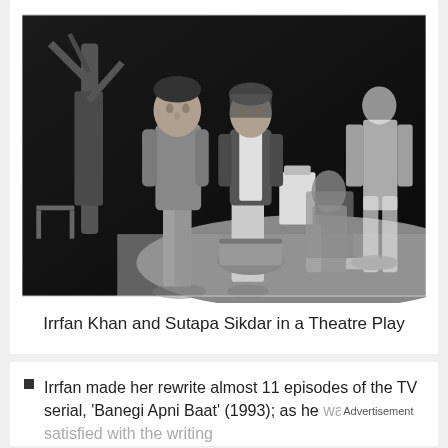[Figure (photo): Black and white photograph of Irrfan Khan and Sutapa Sikdar on a theatre stage, with other actors in the background, a tree prop, and a sandy floor. Sutapa carries a basket and bag.]
Irrfan Khan and Sutapa Sikdar in a Theatre Play
Irrfan made her rewrite almost 11 episodes of the TV serial, 'Banegi Apni Baat' (1993); as he was not satisfied with the writing